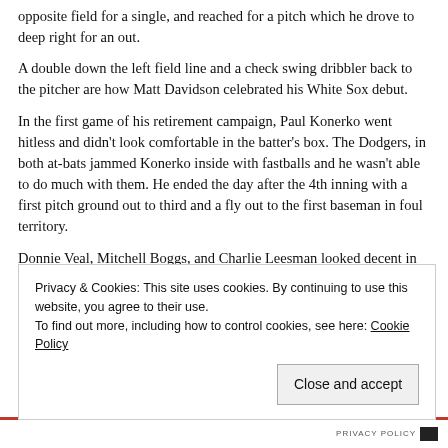opposite field for a single, and reached for a pitch which he drove to deep right for an out.
A double down the left field line and a check swing dribbler back to the pitcher are how Matt Davidson celebrated his White Sox debut.
In the first game of his retirement campaign, Paul Konerko went hitless and didn't look comfortable in the batter's box. The Dodgers, in both at-bats jammed Konerko inside with fastballs and he wasn't able to do much with them. He ended the day after the 4th inning with a first pitch ground out to third and a fly out to the first baseman in foul territory.
Donnie Veal, Mitchell Boggs, and Charlie Leesman looked decent in the spring debuts. The three relievers combined to give up one hit in three innings of work with two strike outs by Leesman. It wasn't until Jake
Privacy & Cookies: This site uses cookies. By continuing to use this website, you agree to their use.
To find out more, including how to control cookies, see here: Cookie Policy
Close and accept